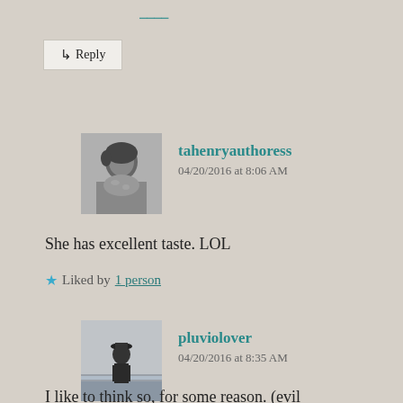[Figure (screenshot): Partial top link/username in teal color, partially cropped at top of page]
↳ Reply
[Figure (photo): Black and white avatar photo of a woman]
tahenryauthoress
04/20/2016 at 8:06 AM
She has excellent taste. LOL
★ Liked by 1 person
[Figure (photo): Black and white avatar photo of a person standing against a horizon/water background]
pluviolover
04/20/2016 at 8:35 AM
I like to think so, for some reason. (evil